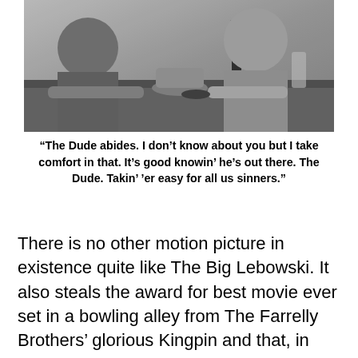[Figure (photo): Black and white photograph of people sitting at a table or counter, with bottles and items visible on the surface.]
“The Dude abides. I don’t know about you but I take comfort in that. It’s good knowin’ he’s out there. The Dude. Takin’ ’er easy for all us sinners.”
There is no other motion picture in existence quite like The Big Lebowski. It also steals the award for best movie ever set in a bowling alley from The Farrelly Brothers’ glorious Kingpin and that, in itself is no mean feat. It is one of those all-too-rare creatures that matures with every subsequent view, you’ll still be noticing dramatic ironies, character arcs and